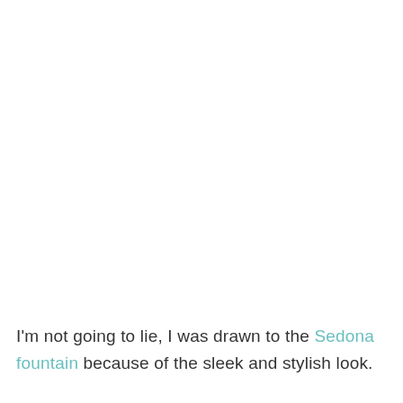I'm not going to lie, I was drawn to the Sedona fountain because of the sleek and stylish look.